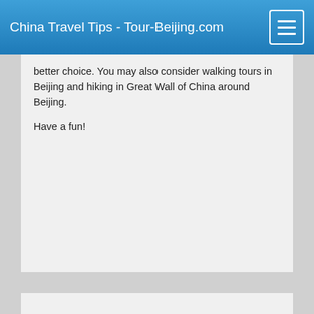China Travel Tips - Tour-Beijing.com
better choice. You may also consider walking tours in Beijing and hiking in Great Wall of China around Beijing.

Have a fun!
Aida
February 26, 2018 at 12:34 am
Hi,
I'll be arriving in Beijing on 3rd March next week. Is skiing possible at that time?